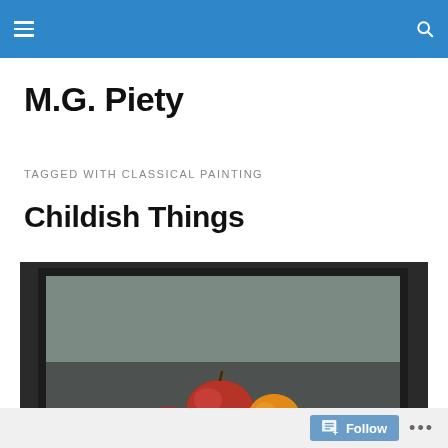M.G. Piety — navigation header bar
M.G. Piety
TAGGED WITH CLASSICAL PAINTING
Childish Things
[Figure (photo): A framed classical still life painting showing fruit (a red apple and an orange) on a dark background, displayed against a dark grey wall.]
Follow  ...